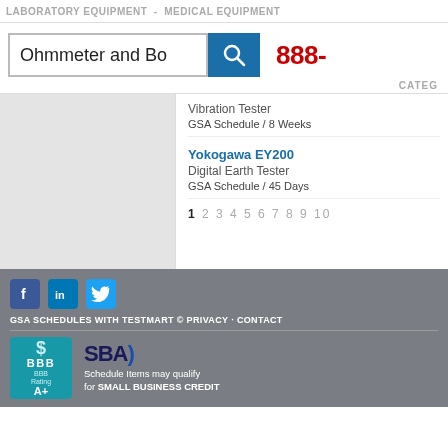LABORATORY EQUIPMENT - MEDICAL EQUIPMENT
[Figure (screenshot): Search bar showing 'Ohmmeter and Bo' with blue search button icon, and partial phone number '888-' in red on right]
CATEG
Vibration Tester
GSA Schedule / 8 Weeks
Yokogawa EY200
Digital Earth Tester
GSA Schedule / 45 Days
1 2 3 4 5 6 7 8 9 10
[Figure (infographic): Footer with social media icons (Facebook, LinkedIn, Twitter), footer links, BBB logo, SBA logo]
GSA SCHEDULES WITH TESTMART © PRIVACY · CONTACT
Schedule Items may qualify for SMALL BUSINESS CREDIT